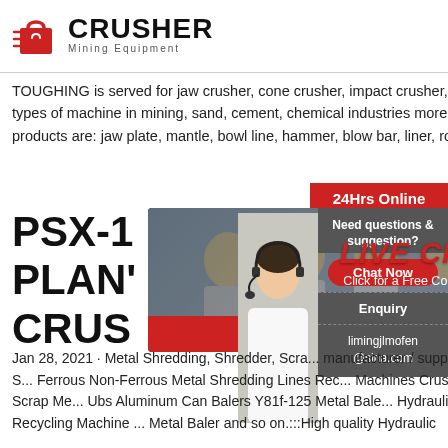[Figure (logo): Crusher Mining Equipment logo with red shopping bag icon and bold CRUSHER text]
TOUGHING is served for jaw crusher, cone crusher, impact crusher,sanding machine and other types of machine in mining, sand, cement, chemical industries more than 20 years.The main products are: jaw plate, mantle, bowl line, hammer, blow bar, liner, roller, mill ring etc.
[Figure (infographic): Live chat popup overlay with construction workers background, LIVE CHAT heading in red, Click for a Free Consultation subtitle, Chat now and Chat later buttons]
PSX-1 PLAN' CRUS
Jan 28, 2021 · Metal Shredding, Shredder, Scrap manufacturer / supplier in China, offering PSX S... Ferrous Non-Ferrous Metal Shredding Lines Rec... Machines Crusher Shredder, Hydraulic Scrap Me... Ubs Aluminum Can Balers Y81f-125 Metal Bale... Hydraulic Scrap Metal Baler Recycling Machine ... Metal Baler and so on.:::High quality Hydraulic
24Hrs Online
Need questions & suggestion?
Chat Now
Enquiry
limingjlmofen@sina.com